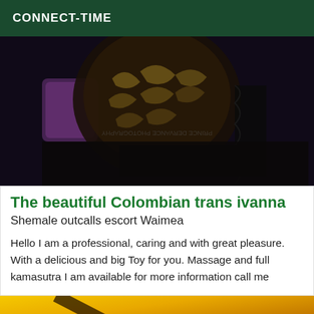CONNECT-TIME
[Figure (photo): Dark photograph showing a person wearing decorative black and gold patterned lingerie, with purple and white background elements visible]
The beautiful Colombian trans ivanna
Shemale outcalls escort Waimea
Hello I am a professional, caring and with great pleasure. With a delicious and big Toy for you. Massage and full kamasutra I am available for more information call me
[Figure (photo): Partial image showing a yellow and gold gradient background, bottom of page]